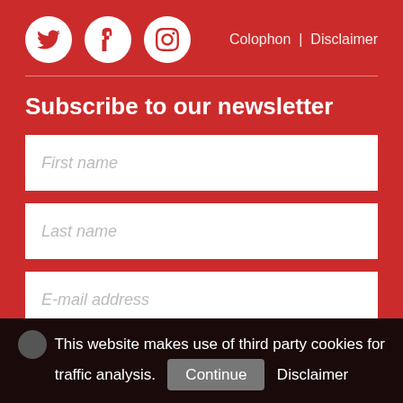[Figure (other): Social media icons: Twitter, Facebook, Instagram circles in white on red background]
Colophon | Disclaimer
Subscribe to our newsletter
First name
Last name
E-mail address
This website makes use of third party cookies for traffic analysis. Continue Disclaimer